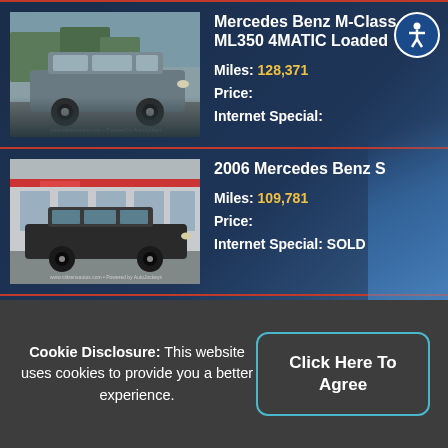[Figure (photo): Gray Mercedes Benz ML350 SUV parked in a lot with trees in background]
Mercedes Benz M-Class ML350 4MATIC Loaded
Miles: 128,371
Price:
Internet Special:
[Figure (photo): Black Mercedes Benz S-Class sedan parked in front of a dealership]
2006 Mercedes Benz S
Miles: 109,781
Price:
Internet Special: SOLD
[Figure (photo): Partial view of another 2006 Mercedes Benz S listing]
2006 Mercedes Benz S
Cookie Disclosure: This website uses cookies to provide you a better experience.
Click Here To Agree